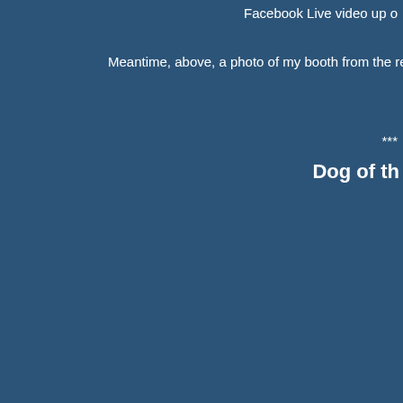Facebook Live video up o
Meantime, above, a photo of my booth from the recent Central Penn
***
Dog of th
[Figure (photo): A close-up photo of a Boston Terrier or similar breed dog with brown and white markings, wearing a small crown/tiara accessory and a collar with a red tag, looking directly at the camera with a slightly grumpy expression. The dog appears to be sitting on wooden slats.]